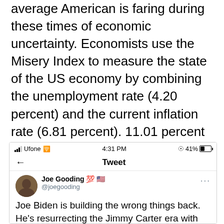average American is faring during these times of economic uncertainty. Economists use the Misery Index to measure the state of the US economy by combining the unemployment rate (4.20 percent) and the current inflation rate (6.81 percent). 11.01 percent is the current percentage of Americans who are miserable.
[Figure (screenshot): A mobile phone screenshot showing a Twitter/Tweet interface. Status bar shows 'Ufone' carrier, WiFi signal, 4:31 PM time, and 41% battery. The Tweet header shows a back arrow and 'Tweet' title. A tweet by Joe Gooding (@joegooding) with flag and 100 emojis reads: 'Joe Biden is building the wrong things back. He's resurrecting the Jimmy Carter era with rampant inflation and reminding']